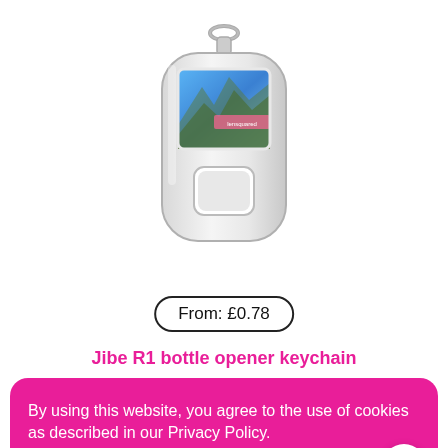[Figure (photo): A Jibe R1 bottle opener keychain product photo. The keychain has a silver metallic body with a rectangular photo insert showing a scenic landscape, and a bottle opener hole in the lower half. A metal ring is at the top.]
From: £0.78
Jibe R1 bottle opener keychain
By using this website, you agree to the use of cookies as described in our Privacy Policy.
I AGREE →